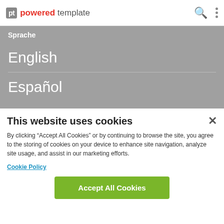pt powered template
Sprache
English
Español
This website uses cookies
By clicking “Accept All Cookies” or by continuing to browse the site, you agree to the storing of cookies on your device to enhance site navigation, analyze site usage, and assist in our marketing efforts.
Cookie Policy
Accept All Cookies